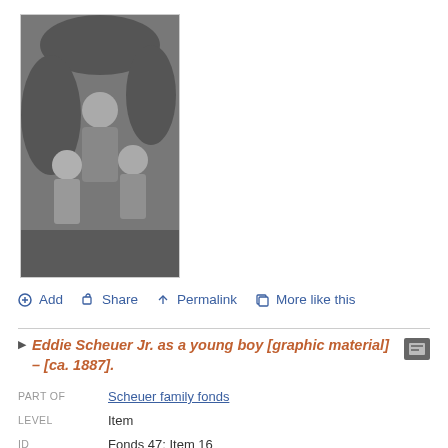[Figure (photo): Black and white photograph of children standing outdoors, possibly in a garden or yard setting.]
Add  Share  Permalink  More like this
Eddie Scheuer Jr. as a young boy [graphic material] – [ca. 1887].
| Field | Value |
| --- | --- |
| PART OF | Scheuer family fonds |
| LEVEL | Item |
| ID | Fonds 47; Item 16 |
| SOURCE | Archival Descriptions |
[Figure (photo): Sepia-toned photograph of a young child sitting, likely a vintage portrait.]